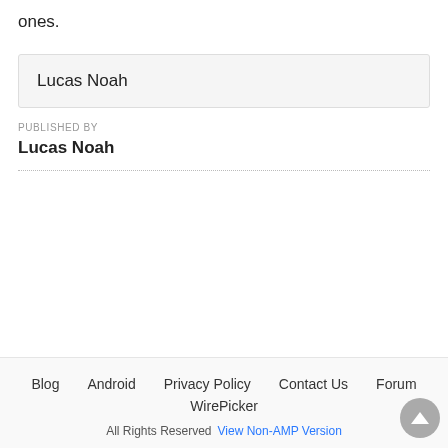ones.
Lucas Noah
PUBLISHED BY
Lucas Noah
Blog  Android  Privacy Policy  Contact Us  Forum  WirePicker  All Rights Reserved  View Non-AMP Version